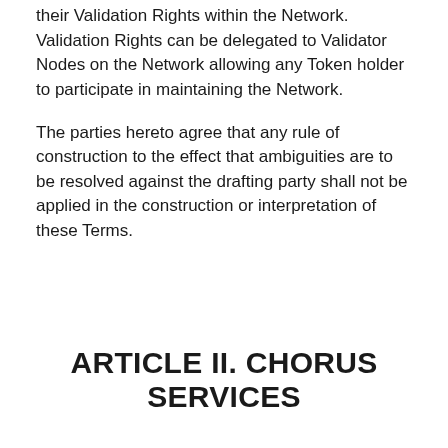their Validation Rights within the Network. Validation Rights can be delegated to Validator Nodes on the Network allowing any Token holder to participate in maintaining the Network.
The parties hereto agree that any rule of construction to the effect that ambiguities are to be resolved against the drafting party shall not be applied in the construction or interpretation of these Terms.
ARTICLE II. CHORUS SERVICES
Section 2.1 Services. Chorus operates the software and infrastructure necessary to run a Validator Node on the